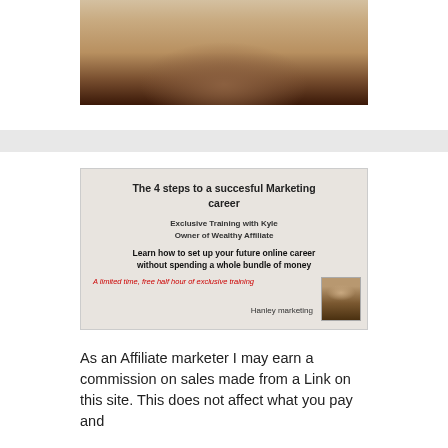[Figure (photo): Cropped photo of a person, showing chin/neck area at top of page]
[Figure (infographic): Banner image with text: 'The 4 steps to a succesful Marketing career', 'Exclusive Training with Kyle Owner of Wealthy Affiliate', 'Learn how to set up your future online career without spending a whole bundle of money', 'A limited time, free half hour of exclusive training', 'Hanley marketing', with a small photo of a man on the right side]
As an Affiliate marketer I may earn a commission on sales made from a Link on this site. This does not affect what you pay and